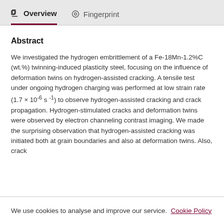Overview   Fingerprint
Abstract
We investigated the hydrogen embrittlement of a Fe-18Mn-1.2%C (wt.%) twinning-induced plasticity steel, focusing on the influence of deformation twins on hydrogen-assisted cracking. A tensile test under ongoing hydrogen charging was performed at low strain rate (1.7 × 10⁻⁶ s⁻¹) to observe hydrogen-assisted cracking and crack propagation. Hydrogen-stimulated cracks and deformation twins were observed by electron channeling contrast imaging. We made the surprising observation that hydrogen-assisted cracking was initiated both at grain boundaries and also at deformation twins. Also, crack
We use cookies to analyse and improve our service. Cookie Policy